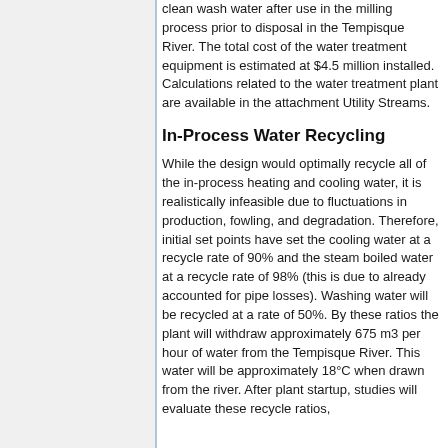clean wash water after use in the milling process prior to disposal in the Tempisque River. The total cost of the water treatment equipment is estimated at $4.5 million installed. Calculations related to the water treatment plant are available in the attachment Utility Streams.
In-Process Water Recycling
While the design would optimally recycle all of the in-process heating and cooling water, it is realistically infeasible due to fluctuations in production, fowling, and degradation. Therefore, initial set points have set the cooling water at a recycle rate of 90% and the steam boiled water at a recycle rate of 98% (this is due to already accounted for pipe losses). Washing water will be recycled at a rate of 50%. By these ratios the plant will withdraw approximately 675 m3 per hour of water from the Tempisque River. This water will be approximately 18°C when drawn from the river. After plant startup, studies will evaluate these recycle ratios,